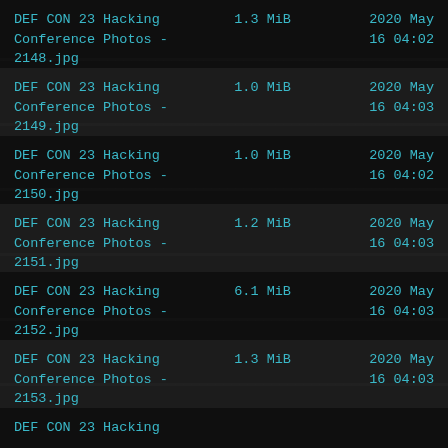DEF CON 23 Hacking Conference Photos - 2148.jpg    1.3 MiB    2020 May 16 04:02
DEF CON 23 Hacking Conference Photos - 2149.jpg    1.0 MiB    2020 May 16 04:03
DEF CON 23 Hacking Conference Photos - 2150.jpg    1.0 MiB    2020 May 16 04:02
DEF CON 23 Hacking Conference Photos - 2151.jpg    1.2 MiB    2020 May 16 04:03
DEF CON 23 Hacking Conference Photos - 2152.jpg    6.1 MiB    2020 May 16 04:03
DEF CON 23 Hacking Conference Photos - 2153.jpg    1.3 MiB    2020 May 16 04:03
DEF CON 23 Hacking Conference Photos - (continues)